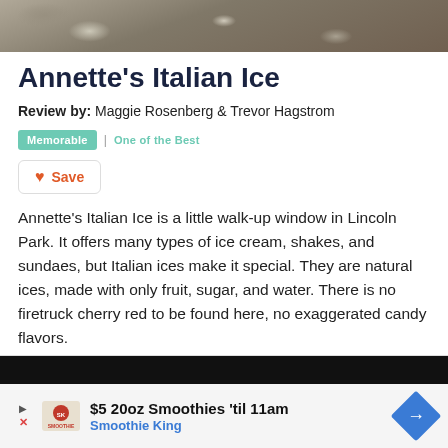[Figure (photo): Top portion of a textured surface photo, showing rocky or grainy material in brown/gray tones, cropped at top of page]
Annette’s Italian Ice
Review by: Maggie Rosenberg & Trevor Hagstrom
Memorable | One of the Best
Save
Annette’s Italian Ice is a little walk-up window in Lincoln Park. It offers many types of ice cream, shakes, and sundaes, but Italian ices make it special. They are natural ices, made with only fruit, sugar, and water. There is no firetruck cherry red to be found here, no exaggerated candy flavors.
[Figure (screenshot): Advertisement banner for Smoothie King: black header bar, then ad content with play/close icons, Smoothie King logo, text '$5 20oz Smoothies til 11am' and 'Smoothie King', and a blue diamond arrow icon]